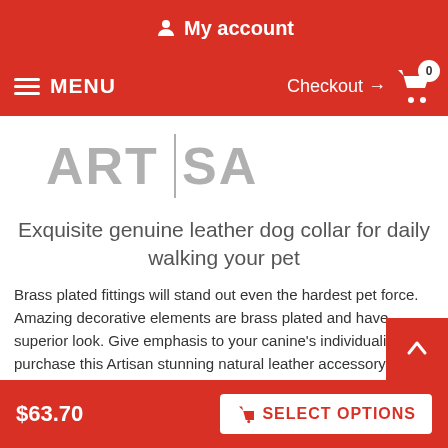My account
MENU  Checkout → 0
[Figure (logo): ARTISAN logo with vertical divider between ART and SAN, gray letters]
Exquisite genuine leather dog collar for daily walking your pet
Brass plated fittings will stand out even the hardest pet force. Amazing decorative elements are brass plated and have superior look. Give emphasis to your canine's individuality, purchase this Artisan stunning natural leather accessory!
Click on the pictures to see bigger image
$63.70  SELECT OPTIONS